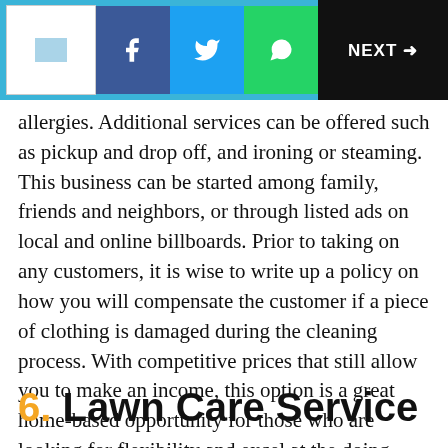NEXT →
allergies. Additional services can be offered such as pickup and drop off, and ironing or steaming. This business can be started among family, friends and neighbors, or through listed ads on local and online billboards. Prior to taking on any customers, it is wise to write up a policy on how you will compensate the customer if a piece of clothing is damaged during the cleaning process. With competitive prices that still allow you to make an income, this option is a great home-based opportunity for those who are looking for flexibility and excel at the doing laundry.
6. Lawn Care Service